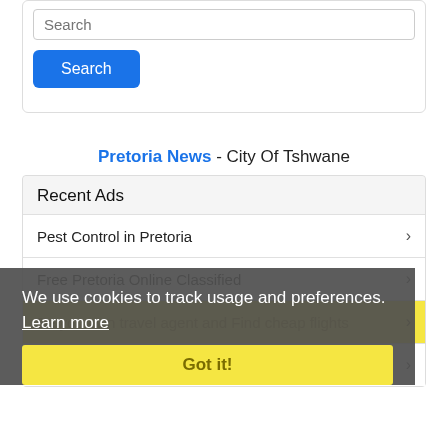[Figure (screenshot): Search input box with placeholder text 'Search']
[Figure (screenshot): Blue 'Search' button]
Pretoria News - City Of Tshwane
Recent Ads
Pest Control in Pretoria
Free Pretoria Online Classified
Be you own travel agent and Find cheap flights
Visit Cargo Quote for Affordable Freight and
We use cookies to track usage and preferences. Learn more
Got it!